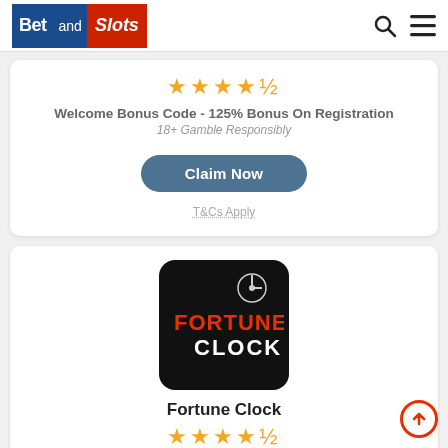BetandSlots
Welcome Bonus Code - 125% Bonus On Registration
18+ Gamble Responsibly
Claim Now
T&Cs Apply
[Figure (logo): Fortune Clock casino logo — black square with orange FORTUNE CLOCK text and clock target graphic]
Fortune Clock
Welcome Package - A Total of 225% And 225 Free Spins
18+ Gamble Responsibly